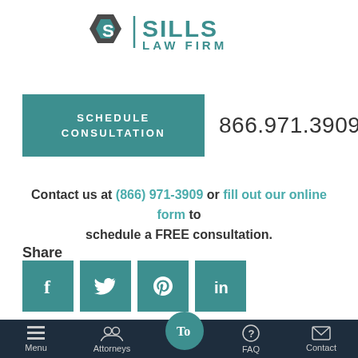[Figure (logo): Sills Law Firm logo with stylized S hexagon icon and teal text reading SILLS LAW FIRM]
SCHEDULE CONSULTATION | 866.971.3909
Contact us at (866) 971-3909 or fill out our online form to schedule a FREE consultation.
Share
[Figure (infographic): Social media share icons: Facebook, Twitter, Pinterest, LinkedIn — all in teal square buttons]
Menu | Attorneys | [Lawyers icon] | FAQ | Contact